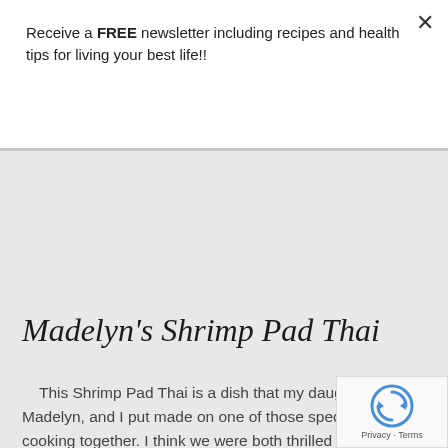Receive a FREE newsletter including recipes and health tips for living your best life!!
Subscribe
Madelyn's Shrimp Pad Thai
This Shrimp Pad Thai is a dish that my daughter, Madelyn, and I put made on one of those special nights of cooking together. I think we were both thrilled with how it turned out! If you love a good Pad Thai then this recipe is for you.  It is easy and you can really use any source of protein you would like.  Make tonight special You will not be disappointed!     Sauce Ingredients: 4 T tamari 2 T honey 2 T fish sauce 2 T brown rice vinegar 2 T Sambal Oelek chili paste   Pad Thai Ingredients: 12 oz. brown rice pad thai noodles 1 lb. wild-caught shrimp, thawed ¼ C butter or ghee